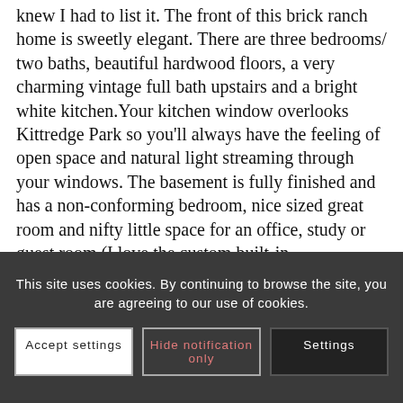knew I had to list it. The front of this brick ranch home is sweetly elegant. There are three bedrooms/ two baths, beautiful hardwood floors, a very charming vintage full bath upstairs and a bright white kitchen.Your kitchen window overlooks Kittredge Park so you'll always have the feeling of open space and natural light streaming through your windows. The basement is fully finished and has a non-conforming bedroom, nice sized great room and nifty little space for an office, study or guest room (I love the custom built-in bookshelves!). The back yard is private and just the right amount of space; not too much to keep up, but plenty of room for the gardener, the dog, or both. Enjoy a summer party under the covered patio and give me a call when you do! Did I mention the giant garage? Well it has a really nice, big garage. Click the link above to see the video and call me if you'd like to see it. Or just call and say hello!
This site uses cookies. By continuing to browse the site, you are agreeing to our use of cookies.
Accept settings
Hide notification only
Settings